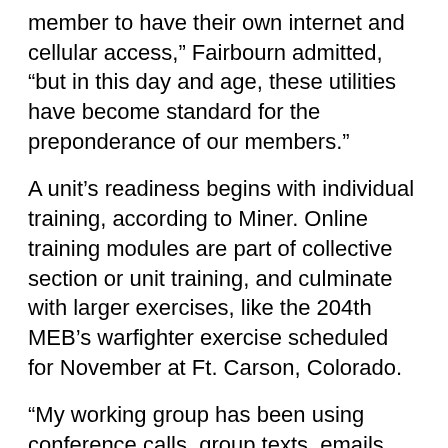member to have their own internet and cellular access,” Fairbourn admitted, “but in this day and age, these utilities have become standard for the preponderance of our members.”
A unit’s readiness begins with individual training, according to Miner. Online training modules are part of collective section or unit training, and culminate with larger exercises, like the 204th MEB’s warfighter exercise scheduled for November at Ft. Carson, Colorado.
“My working group has been using conference calls, group texts, emails and sharepoints to collaborate in preparation for warfighter,” said Maj. Robin Cox, 204th MEB intelligence officer and the warfighter project officer. “The work feels very academic but the output is entirely mission-oriented.”
Cox is a member of the primary staff, working to